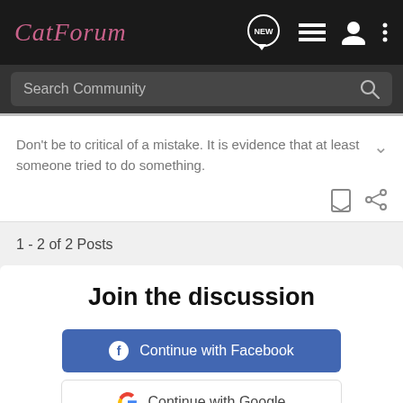CatForum
Search Community
Don't be to critical of a mistake. It is evidence that at least someone tried to do something.
1 - 2 of 2 Posts
Join the discussion
Continue with Facebook
Continue with Google